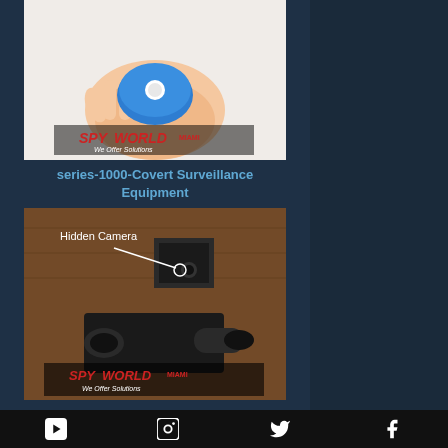[Figure (photo): Hand holding a small blue oval-shaped device with a white button/lens, with SpyWorld Miami 'We Offer Solutions' logo overlay]
series-1000-Covert Surveillance Equipment
[Figure (photo): Security camera setup with 'Hidden Camera' label pointing to a hidden lens, with SpyWorld Miami 'We Offer Solutions' logo overlay]
YouTube | Instagram | Twitter | Facebook social media icons